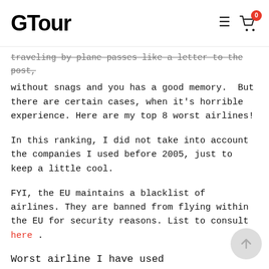GTour
traveling by plane passes like a letter to the post, without snags and you has a good memory.  But there are certain cases, when it's horrible experience. Here are my top 8 worst airlines!
In this ranking, I did not take into account the companies I used before 2005, just to keep a little cool.
FYI, the EU maintains a blacklist of airlines. They are banned from flying within the EU for security reasons. List to consult here .
Worst airline I have used
[Figure (photo): Gray image placeholder at the bottom of the page]